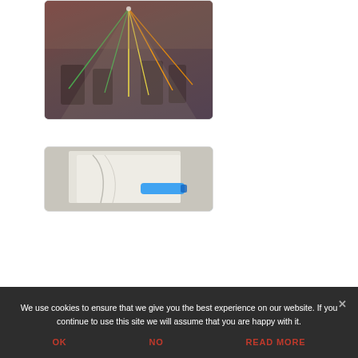[Figure (photo): News card showing a laser charging system demo scene. Image of people in a room with colored laser beams (green, yellow, orange) projected from above. Overlaid text reads: 'New laser charging system could offer safe cordless power...']
[Figure (photo): Second news card showing a close-up of what appears to be pages of a book or paper with a blue object partially visible.]
We use cookies to ensure that we give you the best experience on our website. If you continue to use this site we will assume that you are happy with it.
OK
NO
READ MORE